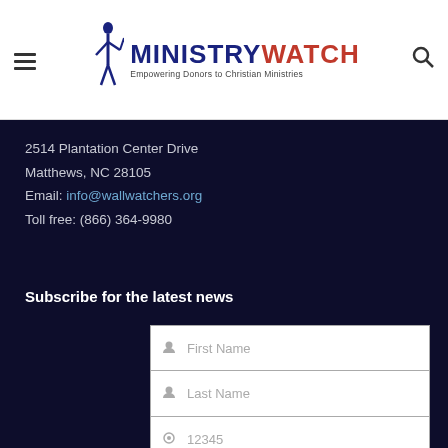MinistryWatch — Empowering Donors to Christian Ministries
2514 Plantation Center Drive
Matthews, NC 28105
Email: info@wallwatchers.org
Toll free: (866) 364-9980
Subscribe for the latest news
First Name
Last Name
12345
johnsmith@example.com